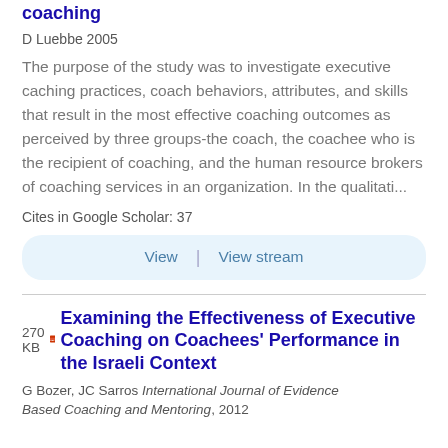coaching
D Luebbe 2005
The purpose of the study was to investigate executive caching practices, coach behaviors, attributes, and skills that result in the most effective coaching outcomes as perceived by three groups-the coach, the coachee who is the recipient of coaching, and the human resource brokers of coaching services in an organization. In the qualitati...
Cites in Google Scholar: 37
View | View stream
Examining the Effectiveness of Executive Coaching on Coachees' Performance in the Israeli Context
G Bozer, JC Sarros International Journal of Evidence Based Coaching and Mentoring, 2012